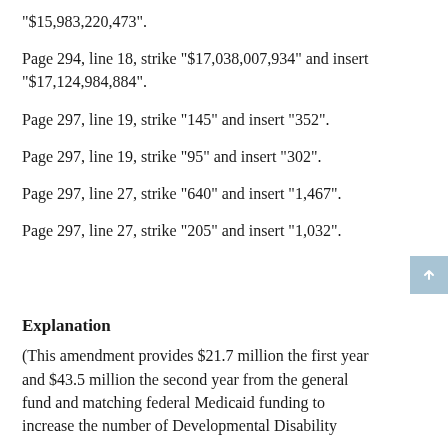"$15,983,220,473".
Page 294, line 18, strike "$17,038,007,934" and insert "$17,124,984,884".
Page 297, line 19, strike "145" and insert "352".
Page 297, line 19, strike "95" and insert "302".
Page 297, line 27, strike "640" and insert "1,467".
Page 297, line 27, strike "205" and insert "1,032".
Explanation
(This amendment provides $21.7 million the first year and $43.5 million the second year from the general fund and matching federal Medicaid funding to increase the number of Developmental Disability